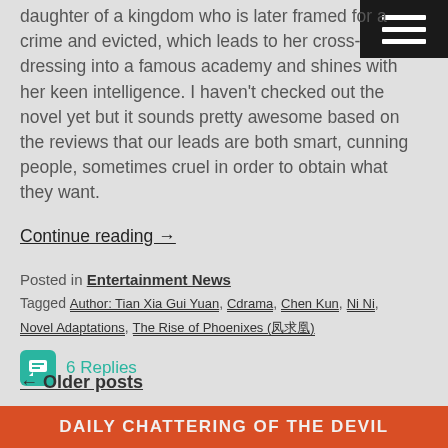daughter of a kingdom who is later framed for a crime and evicted, which leads to her cross-dressing into a famous academy and shines with her keen intelligence. I haven't checked out the novel yet but it sounds pretty awesome based on the reviews that our leads are both smart, cunning people, sometimes cruel in order to obtain what they want.
Continue reading →
Posted in Entertainment News
Tagged Author: Tian Xia Gui Yuan, Cdrama, Chen Kun, Ni Ni, Novel Adaptations, The Rise of Phoenixes (凤求凰)
6 Replies
← Older posts
DAILY CHATTERING OF THE DEVIL